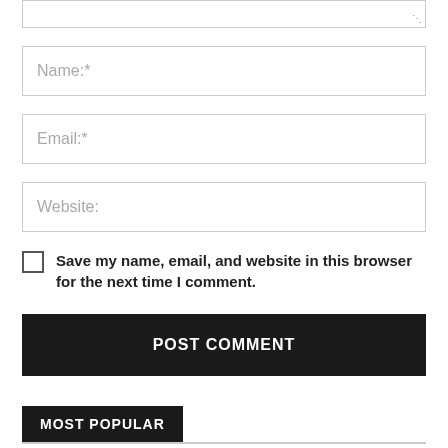[Figure (screenshot): Bottom edge of a textarea input field with resize handle icon]
Name:*
Email:*
Website:
Save my name, email, and website in this browser for the next time I comment.
POST COMMENT
MOST POPULAR
10 Reasons Why You Should Use Solar